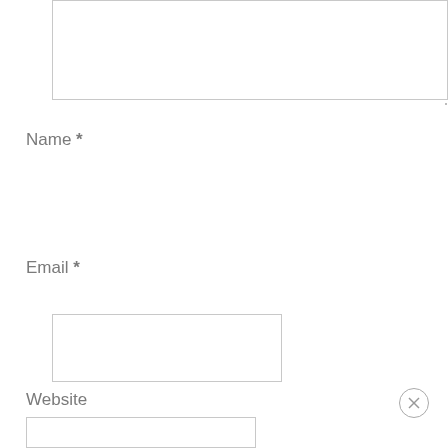[Figure (screenshot): Web form textarea input box (empty), partially visible at top of page]
Name *
[Figure (screenshot): Name input field (empty text box)]
Email *
[Figure (screenshot): Email input field (empty text box)]
Website
[Figure (screenshot): Close/dismiss button (circle with X) in bottom right corner]